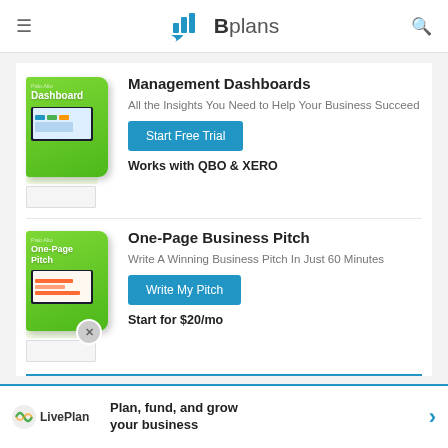Bplans
Management Dashboards
All the Insights You Need to Help Your Business Succeed
Start Free Trial
Works with QBO & XERO
One-Page Business Pitch
Write A Winning Business Pitch In Just 60 Minutes
Write My Pitch
Start for $20/mo
LivePlan — Plan, fund, and grow your business